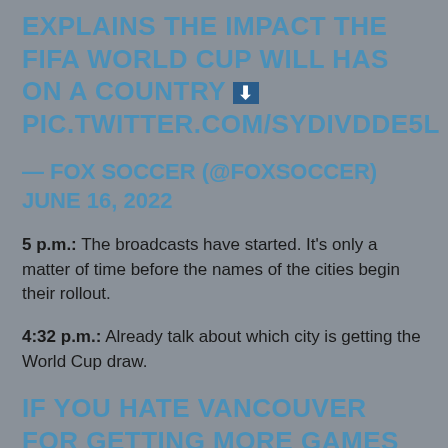EXPLAINS THE IMPACT THE FIFA WORLD CUP WILL HAS ON A COUNTRY ⬇ PIC.TWITTER.COM/SYDIVDDE5L
— FOX SOCCER (@FOXSOCCER) JUNE 16, 2022
5 p.m.: The broadcasts have started. It's only a matter of time before the names of the cities begin their rollout.
4:32 p.m.: Already talk about which city is getting the World Cup draw.
IF YOU HATE VANCOUVER FOR GETTING MORE GAMES THAT OTHER CITIES… JUST WAIT, THERE'S MORE…